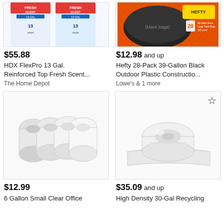[Figure (photo): HDX FlexPro 13 Gal bags product image (partial/cropped), two blue/white packages on white background]
[Figure (photo): Hefty 28-Pack 39-Gallon Black Outdoor bags product image (partial/cropped), black bags on orange package]
$55.88
$12.98 and up
HDX FlexPro 13 Gal. Reinforced Top Fresh Scent...
Hefty 28-Pack 39-Gallon Black Outdoor Plastic Constructio...
The Home Depot
Lowe's & 1 more
[Figure (photo): 6 Gallon Small Clear Office trash bag rolls, multiple white rolls on white background]
[Figure (photo): High Density 30-Gal Recycling bag roll, white roll on white background, with star/bookmark icon]
$12.99
$35.09 and up
6 Gallon Small Clear Office
High Density 30-Gal Recycling